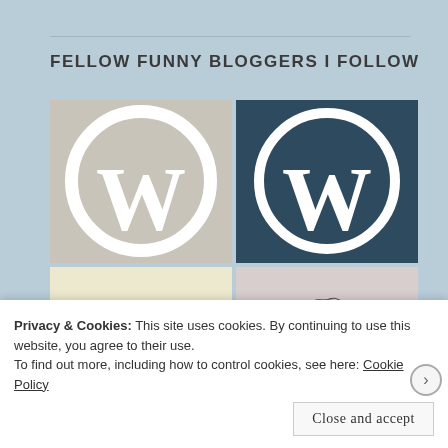FELLOW FUNNY BLOGGERS I FOLLOW
[Figure (logo): Four blog thumbnail images in a 2x2 grid: top-left is a WordPress logo on light beige background, top-right is a WordPress logo on dark teal background, bottom-left is a cartoon black cat on yellow background, bottom-right is a sketch illustration of a person on light purple background]
Privacy & Cookies: This site uses cookies. By continuing to use this website, you agree to their use.
To find out more, including how to control cookies, see here: Cookie Policy
Close and accept